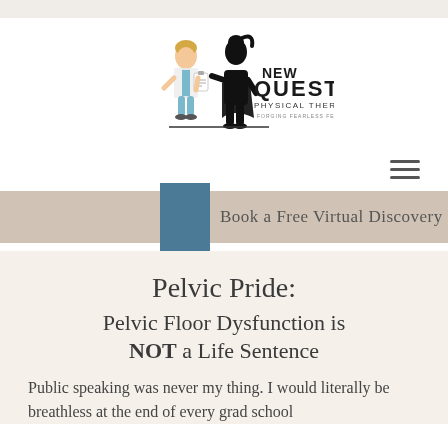[Figure (logo): New Quest Physical Therapy logo with two illustrated women figures and text 'NEW QUEST PHYSICAL THERAPY - Forging Fearless Females']
[Figure (other): Hamburger menu icon (three horizontal lines)]
Book a Free Virtual Discovery Call He
Pelvic Pride:
Pelvic Floor Dysfunction is NOT a Life Sentence
Public speaking was never my thing. I would literally be breathless at the end of every grad school